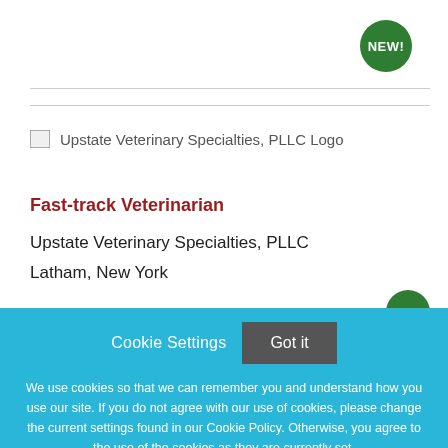[Figure (logo): Upstate Veterinary Specialties, PLLC Logo — broken image placeholder with alt text]
Fast-track Veterinarian
Upstate Veterinary Specialties, PLLC
Latham, New York
Cookie Settings  Got it
We use cookies so that we can remember you and understand how you use our site. If you do not agree with our use of cookies, please change the current settings found in our Cookie Policy. Otherwise, you agree to the use of the cookies as they are currently set.